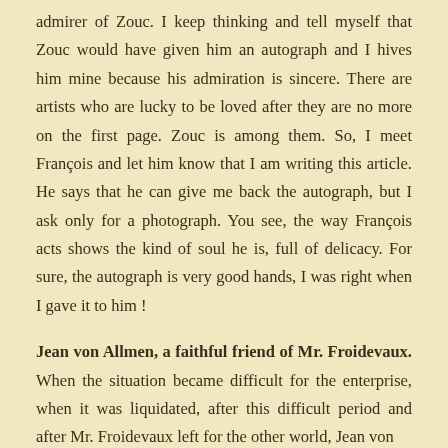admirer of Zouc. I keep thinking and tell myself that Zouc would have given him an autograph and I hives him mine because his admiration is sincere. There are artists who are lucky to be loved after they are no more on the first page. Zouc is among them. So, I meet François and let him know that I am writing this article. He says that he can give me back the autograph, but I ask only for a photograph. You see, the way François acts shows the kind of soul he is, full of delicacy. For sure, the autograph is very good hands, I was right when I gave it to him !
Jean von Allmen, a faithful friend of Mr. Froidevaux. When the situation became difficult for the enterprise, when it was liquidated, after this difficult period and after Mr. Froidevaux left for the other world, Jean von